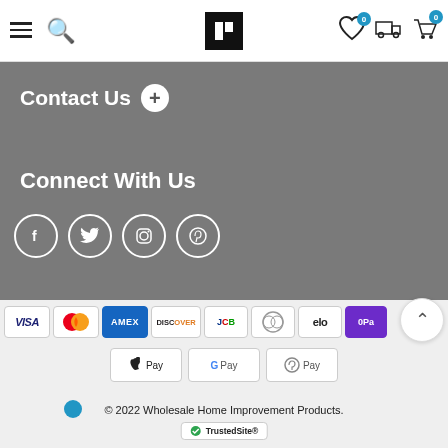Navigation bar with menu, search, logo, wishlist (0), cart (0), and delivery icons
Contact Us
Connect With Us
[Figure (infographic): Social media icons: Facebook, Twitter, Instagram, Pinterest]
[Figure (infographic): Payment method logos: VISA, Mastercard, AMEX, Discover, JCB, Diners Club, Elo, QPay, Apple Pay, Google Pay, ER Pay]
© 2022 Wholesale Home Improvement Products.
[Figure (logo): TrustedSite CERTIFIED SECURE badge]